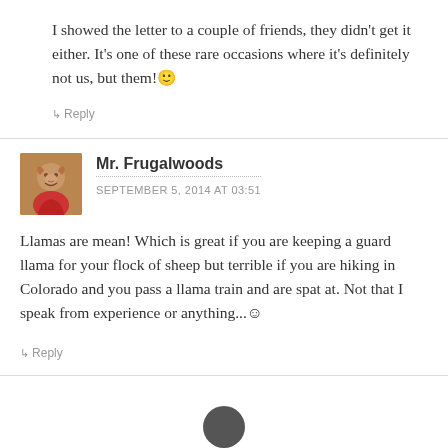I showed the letter to a couple of friends, they didn't get it either. It's one of these rare occasions where it's definitely not us, but them! 🙂
↳ Reply
Mr. Frugalwoods
SEPTEMBER 5, 2014 AT 03:51
Llamas are mean! Which is great if you are keeping a guard llama for your flock of sheep but terrible if you are hiking in Colorado and you pass a llama train and are spat at. Not that I speak from experience or anything... ☺
↳ Reply